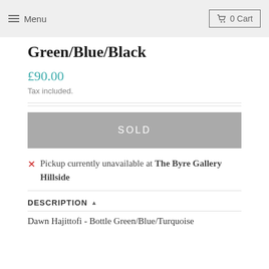Menu | 0 Cart
Green/Blue/Black
£90.00
Tax included.
SOLD
✗ Pickup currently unavailable at The Byre Gallery Hillside
DESCRIPTION ▲
Dawn Hajittofi - Bottle Green/Blue/Turquoise